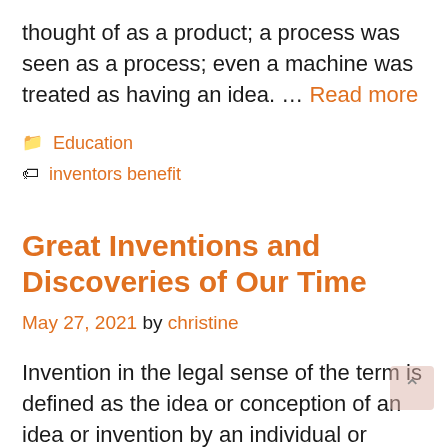thought of as a product; a process was seen as a process; even a machine was treated as having an idea. … Read more
Education
inventors benefit
Great Inventions and Discoveries of Our Time
May 27, 2021 by christine
Invention in the legal sense of the term is defined as the idea or conception of an idea or invention by an individual or group. Inventors are generally those who provide the creativity